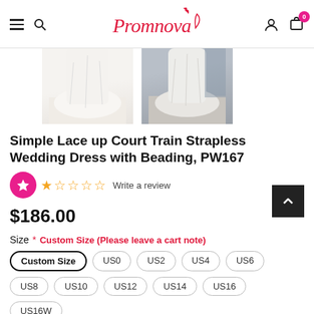Promnova — navigation bar with menu, search, logo, user, cart (0)
[Figure (photo): Two thumbnail photos of a white wedding dress showing the train and back, partially cropped at top]
Simple Lace up Court Train Strapless Wedding Dress with Beading, PW167
★☆☆☆☆ Write a review
$186.00
Size * Custom Size (Please leave a cart note)
Custom Size  US0  US2  US4  US6  US8  US10  US12  US14  US16  US16W